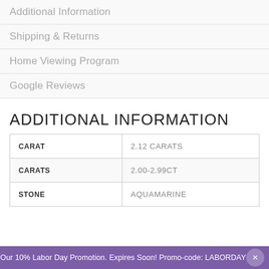Additional Information
Shipping & Returns
Home Viewing Program
Google Reviews
ADDITIONAL INFORMATION
|  |  |
| --- | --- |
| CARAT | 2.12 CARATS |
| CARATS | 2.00-2.99CT |
| STONE | AQUAMARINE |
Our 10% Labor Day Promotion. Expires Soon! Promo-code: LABORDAY